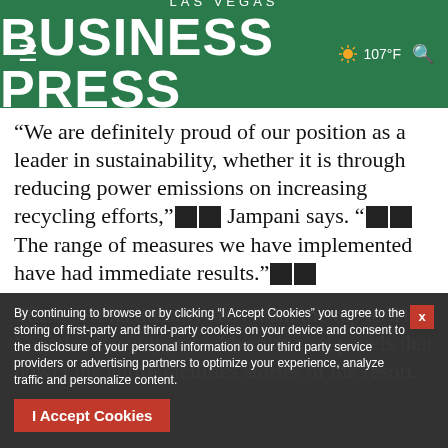LAS VEGAS BUSINESS PRESS — 107°F
“We are definitely proud of our position as a leader in sustainability, whether it is through reducing power emissions on increasing recycling efforts,” [redacted] Jampani says. “[redacted]The range of measures we have implemented have had immediate results.”[redacted]
These results literally start from the top as The Venetian is equipped with solar roof panels that power the entire facilities stories of the resort.
By continuing to browse or by clicking “I Accept Cookies” you agree to the storing of first-party and third-party cookies on your device and consent to the disclosure of your personal information to our third party service providers or advertising partners to optimize your experience, analyze traffic and personalize content.
of the resort.